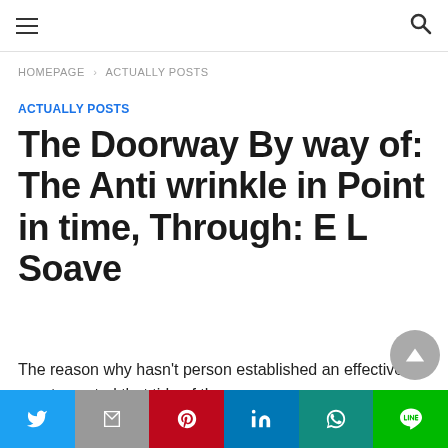≡  🔍
HOMEPAGE › ACTUALLY POSTS
ACTUALLY POSTS
The Doorway By way of: The Anti wrinkle in Point in time, Through: E L Soave
The reason why hasn't person established an effective way to control that tide of the –
Twitter | Gmail | Pinterest | LinkedIn | WhatsApp | LINE